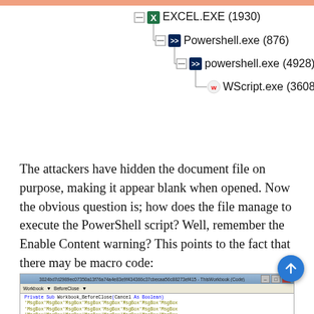[Figure (screenshot): Process tree screenshot showing EXCEL.EXE (1930) with child Powershell.exe (876), which has child powershell.exe (4928), which has child WScript.exe (3608)]
The attackers have hidden the document file on purpose, making it appear blank when opened. Now the obvious question is; how does the file manage to execute the PowerShell script? Well, remember the Enable Content warning? This points to the fact that there may be macro code:
[Figure (screenshot): Visual Basic code editor screenshot showing macro code with Private Sub Workbook_BeforeClose and MsgBox calls, with Worksheets(1).Activate at the bottom]